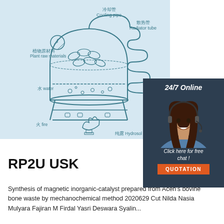[Figure (schematic): Diagram of a plant material distillation/extraction apparatus with labeled parts in Chinese and English: 冷却管 Cooling pipe, 散热管 Radiator tube, 植物原材料 Plant raw materials, 水 water, 火 fire, 纯露 Hydrosol. Shows a vessel on a stand with flame underneath, plant leaves inside, connected to a coiled radiator tube, with collection beaker.]
[Figure (other): Customer service chat widget: '24/7 Online' heading with photo of smiling woman with headset, text 'Click here for free chat!', orange QUOTATION button.]
RP2U USK
Synthesis of magnetic inorganic-catalyst prepared from Aceh's bovine bone waste by mechanochemical method 2020629 Cut Nilda Nasia Mulyara Fajiran M Firdal Yasri Deswara Syalin...